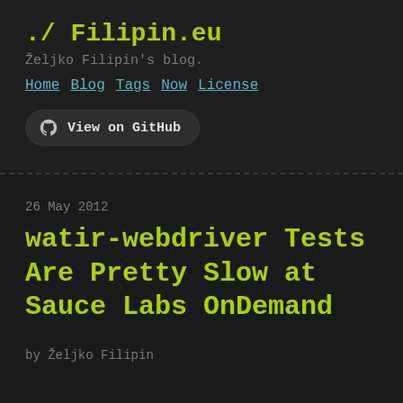./ Filipin.eu
Željko Filipin's blog.
Home  Blog  Tags  Now  License
View on GitHub
26 May 2012
watir-webdriver Tests Are Pretty Slow at Sauce Labs OnDemand
by Željko Filipin